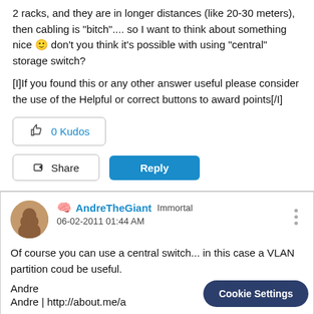2 racks, and they are in longer distances (like 20-30 meters), then cabling is "bitch".... so I want to think about something nice 🙂 don't you think it's possible with using "central" storage switch?
[I]If you found this or any other answer useful please consider the use of the Helpful or correct buttons to award points[/I]
0 Kudos
Share   Reply
AndreTheGiant  Immortal
06-02-2011 01:44 AM
Of course you can use a central switch... in this case a VLAN partition coud be useful.
Andre
Andre | http://about.me/a
Cookie Settings